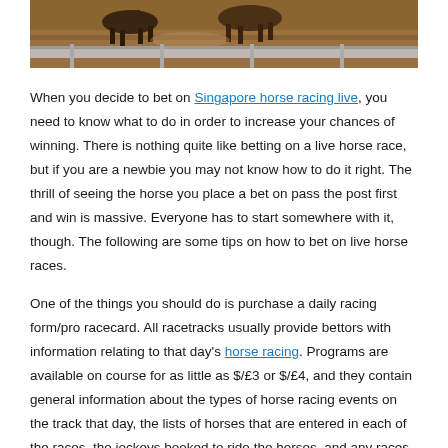[Figure (photo): Top portion of a horse racing photo showing horses running on a dirt track with a railing visible in the foreground.]
When you decide to bet on Singapore horse racing live, you need to know what to do in order to increase your chances of winning. There is nothing quite like betting on a live horse race, but if you are a newbie you may not know how to do it right. The thrill of seeing the horse you place a bet on pass the post first and win is massive. Everyone has to start somewhere with it, though. The following are some tips on how to bet on live horse races.
One of the things you should do is purchase a daily racing form/pro racecard. All racetracks usually provide bettors with information relating to that day's horse racing. Programs are available on course for as little as $/£3 or $/£4, and they contain general information about the types of horse racing events on the track that day, the lists of horses that are entered in each of the races, the jockeys booked to ride the horses, and any races are handicaps.